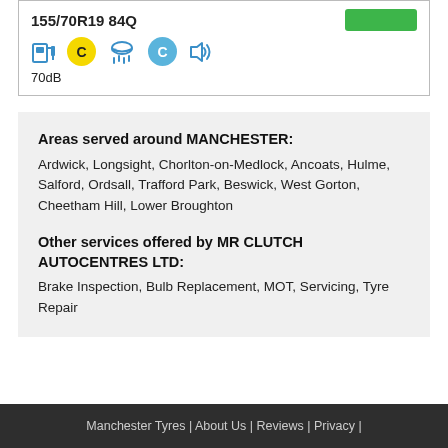155/70R19 84Q
[Figure (infographic): Tyre rating icons: fuel pump icon, yellow circle badge C, rain/wet grip icon, blue circle badge C, sound/noise icon. 70dB below.]
70dB
Areas served around MANCHESTER:
Ardwick, Longsight, Chorlton-on-Medlock, Ancoats, Hulme, Salford, Ordsall, Trafford Park, Beswick, West Gorton, Cheetham Hill, Lower Broughton
Other services offered by MR CLUTCH AUTOCENTRES LTD:
Brake Inspection, Bulb Replacement, MOT, Servicing, Tyre Repair
Manchester Tyres | About Us | Reviews | Privacy |